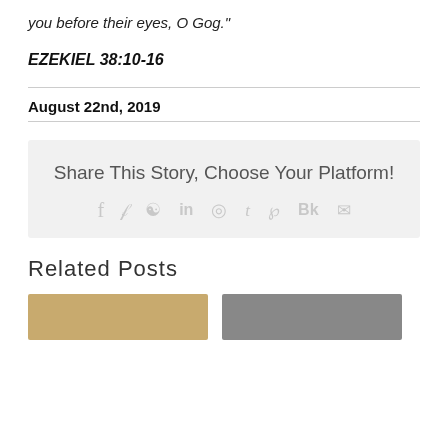you before their eyes, O Gog."
EZEKIEL 38:10-16
August 22nd, 2019
Share This Story, Choose Your Platform!
Related Posts
[Figure (photo): Two thumbnail images for related posts]